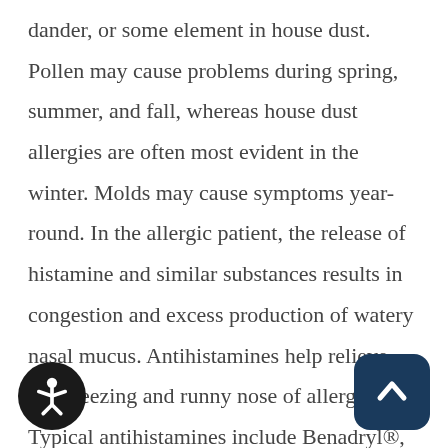dander, or some element in house dust. Pollen may cause problems during spring, summer, and fall, whereas house dust allergies are often most evident in the winter. Molds may cause symptoms year-round. In the allergic patient, the release of histamine and similar substances results in congestion and excess production of watery nasal mucus. Antihistamines help relieve the sneezing and runny nose of allergy. Typical antihistamines include Benadryl®, Chlortrimetron®, Claritin®, Teldrin®,